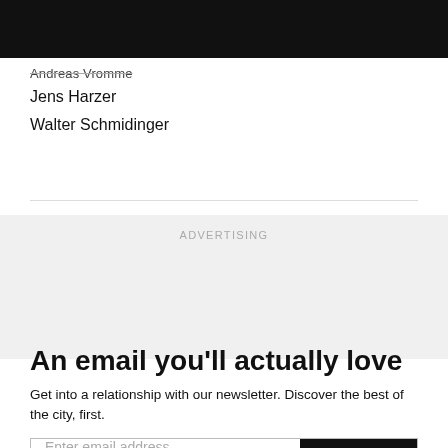Andreas Vromme
Jens Harzer
Walter Schmidinger
ADVERTISING
An email you'll actually love
Get into a relationship with our newsletter. Discover the best of the city, first.
Enter email address  Subscribe